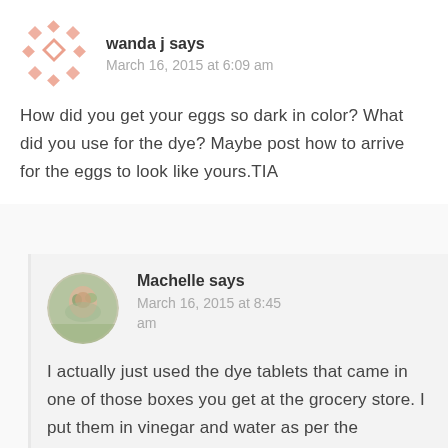[Figure (illustration): Decorative avatar icon with salmon/coral diamond and square pattern on white background]
wanda j says
March 16, 2015 at 6:09 am
How did you get your eggs so dark in color? What did you use for the dye? Maybe post how to arrive for the eggs to look like yours.TIA
[Figure (photo): Circular avatar photo of a person, colorful background]
Machelle says
March 16, 2015 at 8:45 am
I actually just used the dye tablets that came in one of those boxes you get at the grocery store. I put them in vinegar and water as per the